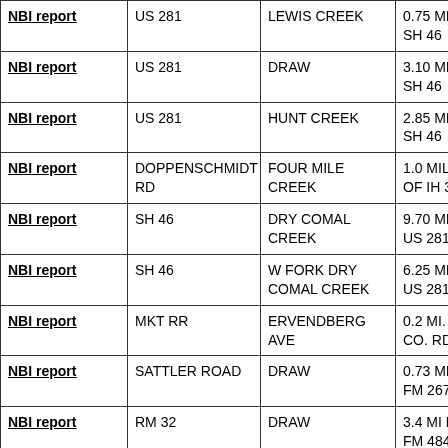| NBI report | US 281 | LEWIS CREEK | 0.75 MI S OF SH 46 |
| NBI report | US 281 | DRAW | 3.10 MI S OF SH 46 |
| NBI report | US 281 | HUNT CREEK | 2.85 MI N OF SH 46 |
| NBI report | DOPPENSCHMIDT RD | FOUR MILE CREEK | 1.0 MILE SE OF IH 35 |
| NBI report | SH 46 | DRY COMAL CREEK | 9.70 MI E OF US 281 |
| NBI report | SH 46 | W FORK DRY COMAL CREEK | 6.25 MI E OF US 281 |
| NBI report | MKT RR | ERVENDBERG AVE | 0.2 MI. S. OF CO. RD. 560 |
| NBI report | SATTLER ROAD | DRAW | 0.73 MI SW OF FM 2673 |
| NBI report | RM 32 | DRAW | 3.4 MI NW OF FM 484 |